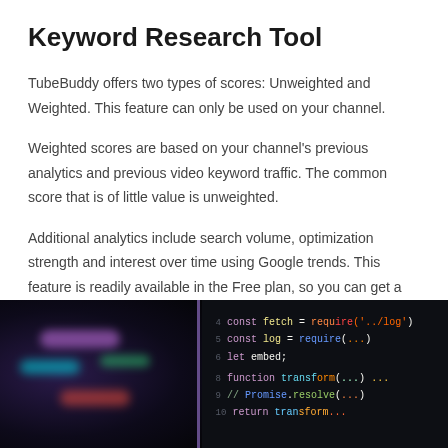Keyword Research Tool
TubeBuddy offers two types of scores: Unweighted and Weighted. This feature can only be used on your channel.
Weighted scores are based on your channel's previous analytics and previous video keyword traffic. The common score that is of little value is unweighted.
Additional analytics include search volume, optimization strength and interest over time using Google trends. This feature is readily available in the Free plan, so you can get a headstart for your channel.
[Figure (screenshot): Dark-themed code editor screenshot showing JavaScript code with colorful syntax highlighting including const fetch, const log, let embed, function transform, Promise.resolve, and return statements on a black background.]